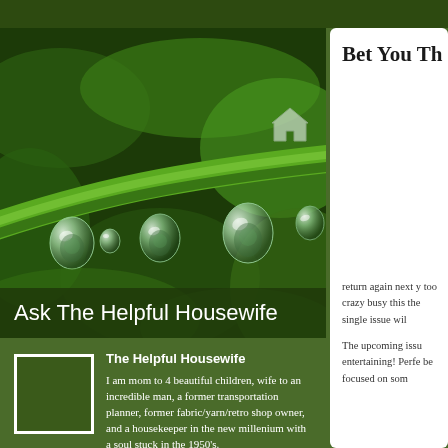[Figure (photo): Close-up macro photo of a green plant stem with water droplets hanging from it, on a dark green background]
Ask The Helpful Housewife
[Figure (photo): Small square avatar placeholder image with white border]
The Helpful Housewife
I am mom to 4 beautiful children, wife to an incredible man, a former transportation planner, former fabric/yarn/retro shop owner, and a housekeeper in the new millenium with a soul stuck in the 1950's.
Bet You Th
return again next y too crazy busy this the single issue wil
The upcoming issu entertaining! Perfe be focused on som